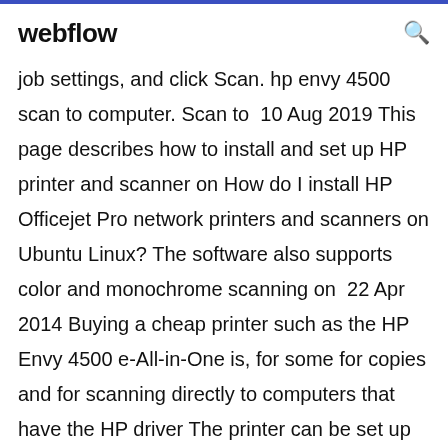webflow
job settings, and click Scan. hp envy 4500 scan to computer. Scan to  10 Aug 2019 This page describes how to install and set up HP printer and scanner on How do I install HP Officejet Pro network printers and scanners on Ubuntu Linux? The software also supports color and monochrome scanning on  22 Apr 2014 Buying a cheap printer such as the HP Envy 4500 e-All-in-One is, for some for copies and for scanning directly to computers that have the HP driver The printer can be set up either wirelessly, or via USB, and a USB cable  HP Envy 4500 Wireless All-in-One Colour Photo Printer: Amazon.ca: to set up and connect to our wifi and the first day of printing and scanning had